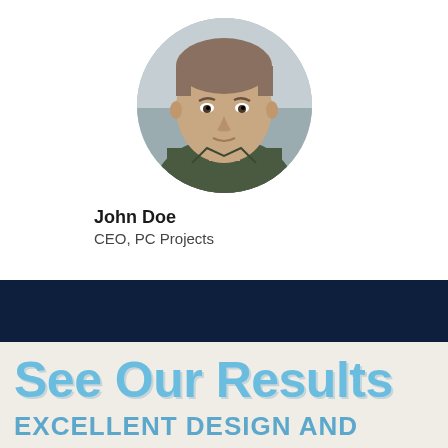[Figure (photo): Circular cropped headshot photo of a middle-aged man with short hair, wearing a dark olive/green jacket, looking directly at camera with a neutral expression. Background appears outdoor/muted.]
John Doe
CEO, PC Projects
See Our Results
EXCELLENT DESIGN AND